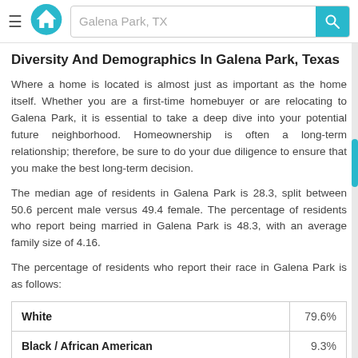[Figure (screenshot): Navigation bar with hamburger menu, house logo, search box with 'Galena Park, TX' text, and teal search button with magnifying glass icon]
Diversity And Demographics In Galena Park, Texas
Where a home is located is almost just as important as the home itself. Whether you are a first-time homebuyer or are relocating to Galena Park, it is essential to take a deep dive into your potential future neighborhood. Homeownership is often a long-term relationship; therefore, be sure to do your due diligence to ensure that you make the best long-term decision.
The median age of residents in Galena Park is 28.3, split between 50.6 percent male versus 49.4 female. The percentage of residents who report being married in Galena Park is 48.3, with an average family size of 4.16.
The percentage of residents who report their race in Galena Park is as follows:
| Race | Percentage |
| --- | --- |
| White | 79.6% |
| Black / African American | 9.3% |